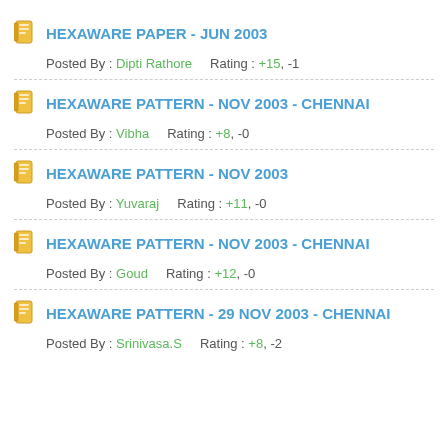HEXAWARE PAPER - JUN 2003
Posted By : Dipti Rathore    Rating : +15, -1
HEXAWARE PATTERN - NOV 2003 - CHENNAI
Posted By : Vibha    Rating : +8, -0
HEXAWARE PATTERN - NOV 2003
Posted By : Yuvaraj    Rating : +11, -0
HEXAWARE PATTERN - NOV 2003 - CHENNAI
Posted By : Goud    Rating : +12, -0
HEXAWARE PATTERN - 29 NOV 2003 - CHENNAI
Posted By : Srinivasa.S    Rating : +8, -2